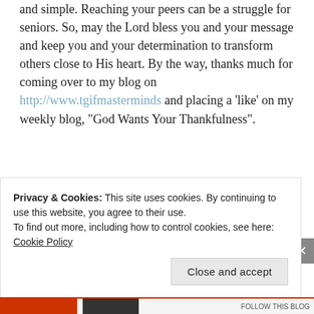and simple. Reaching your peers can be a struggle for seniors. So, may the Lord bless you and your message and keep you and your determination to transform others close to His heart. By the way, thanks much for coming over to my blog on http://www.tgifmasterminds and placing a 'like' on my weekly blog, "God Wants Your Thankfulness".
★ Liked by 1 person
Reply
Privacy & Cookies: This site uses cookies. By continuing to use this website, you agree to their use. To find out more, including how to control cookies, see here: Cookie Policy